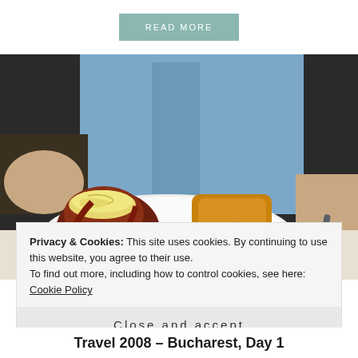READ MORE
[Figure (photo): A plate of food being served by a person in a blue shirt. The plate contains a bacon-wrapped item topped with shredded cheese, fried potatoes, and a salad with vegetables. A knife is visible on the right side.]
Privacy & Cookies: This site uses cookies. By continuing to use this website, you agree to their use.
To find out more, including how to control cookies, see here: Cookie Policy
Close and accept
Travel 2008 – Bucharest, Day 1